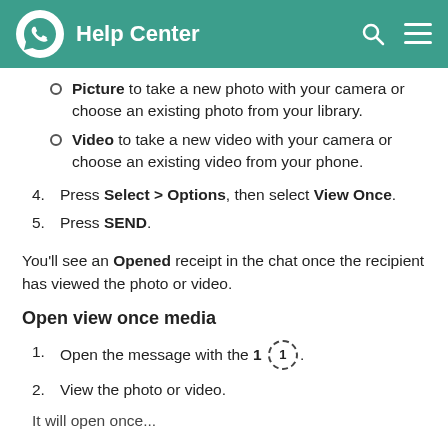Help Center
Picture to take a new photo with your camera or choose an existing photo from your library.
Video to take a new video with your camera or choose an existing video from your phone.
4. Press Select > Options, then select View Once.
5. Press SEND.
You'll see an Opened receipt in the chat once the recipient has viewed the photo or video.
Open view once media
1. Open the message with the 1 [icon].
2. View the photo or video.
It will open once...